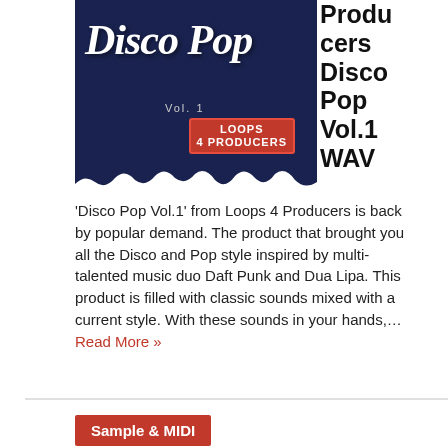[Figure (illustration): Album cover for 'Disco Pop Vol.1' by Loops 4 Producers. Dark navy blue background with white cursive 'Disco Pop' text and 'Vol.1' below. Red 'Loops 4 Producers' badge in lower right. Torn white paper effect at bottom.]
Producers Disco Pop Vol.1 WAV
'Disco Pop Vol.1' from Loops 4 Producers is back by popular demand. The product that brought you all the Disco and Pop style inspired by multi-talented music duo Daft Punk and Dua Lipa. This product is filled with classic sounds mixed with a current style. With these sounds in your hands,… Read More »
Sample & MIDI